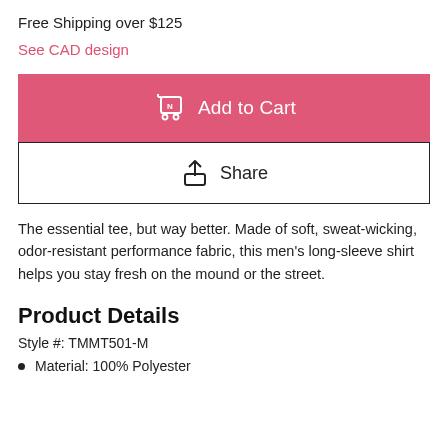Free Shipping over $125
See CAD design
[Figure (other): Pink 'Add to Cart' button with shopping cart icon]
[Figure (other): White 'Share' button with upload/share icon]
The essential tee, but way better. Made of soft, sweat-wicking, odor-resistant performance fabric, this men's long-sleeve shirt helps you stay fresh on the mound or the street.
Product Details
Style #: TMMT501-M
Material: 100% Polyester